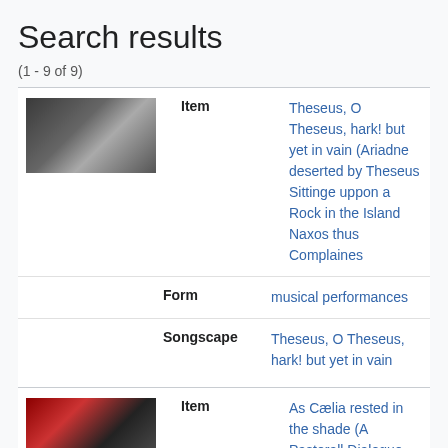Search results
(1 - 9 of 9)
Item: Theseus, O Theseus, hark! but yet in vain (Ariadne deserted by Theseus Sittinge uppon a Rock in the Island Naxos thus Complaines
Form: musical performances
Songscape: Theseus, O Theseus, hark! but yet in vain
Item: As Cælia rested in the shade (A Pastorall Dialogue betwixt Cleon and Cælia)
Form: musical performances
Songsca: As Cælia rested in the shade